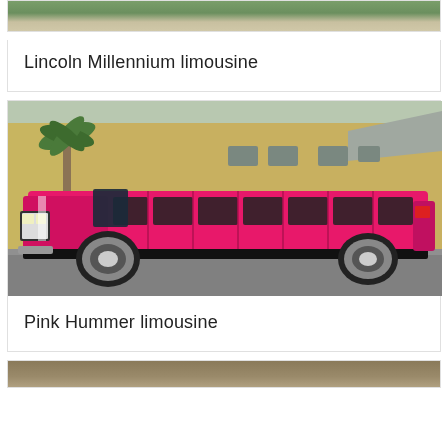[Figure (photo): Partial top of a card showing a photo (cropped, only bottom edge visible) — likely another limousine photo above.]
Lincoln Millennium limousine
[Figure (photo): Photo of a pink stretched Hummer limousine parked in front of a yellow building with a palm tree. The vehicle is a pink H2 Hummer stretch limo with multiple doors and chrome wheels.]
Pink Hummer limousine
[Figure (photo): Partial bottom of another card showing the top edge of another photo (cropped).]